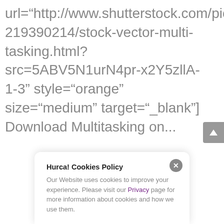url="http://www.shutterstock.com/pic-219390214/stock-vector-multi-tasking.html?src=5ABV5N1urN4pr-x2Y5zllA-1-3" style="orange" size="medium" target="_blank"] Download Multitasking on...
Hurca! Cookies Policy
Our Website uses cookies to improve your experience. Please visit our Privacy page for more information about cookies and how we use them.